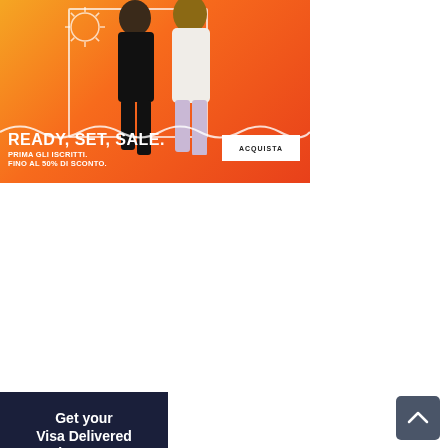[Figure (illustration): Adidas sale banner with orange gradient background, two people (woman in black, man in white), wavy line graphic, sun illustration, white frame border. Text: READY, SET, SALE. PRIMA GLI ISCRITTI. FINO AL 50% DI SCONTO. Button: ACQUISTA]
[Figure (photo): Dark navy background ad showing passport/visa pages with text: Get your Visa Delivered via EMAIL. White card overlay with pink chevron/check mark.]
[Figure (illustration): Advertisement with teal/green left panel showing 20%OFF hasta el 30 de agosto, and right white panel showing brown/amber round sunglasses. Right arrow navigation indicator.]
[Figure (other): Dark blue-grey scroll-to-top button with white upward chevron arrow, bottom right corner.]